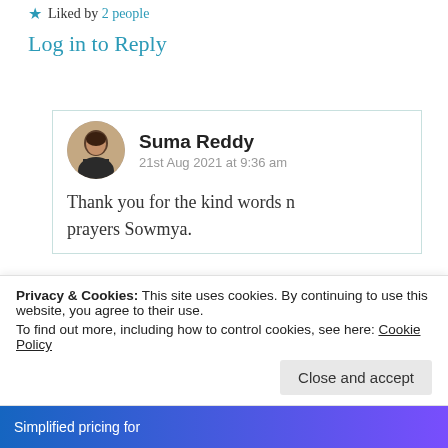Liked by 2 people
Log in to Reply
Suma Reddy
21st Aug 2021 at 9:36 am
Thank you for the kind words n prayers Sowmya.
Privacy & Cookies: This site uses cookies. By continuing to use this website, you agree to their use.
To find out more, including how to control cookies, see here: Cookie Policy
Close and accept
Simplified pricing for